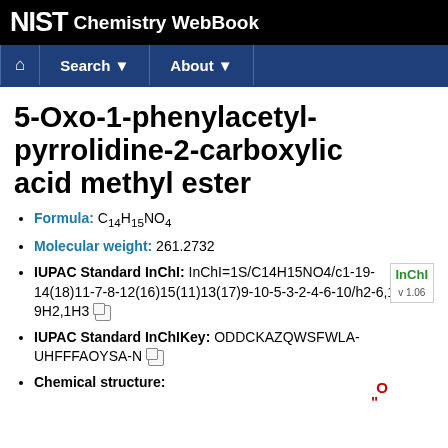NIST Chemistry WebBook
5-Oxo-1-phenylacetyl-pyrrolidine-2-carboxylic acid methyl ester
Formula: C14H15NO4
Molecular weight: 261.2732
IUPAC Standard InChI: InChI=1S/C14H15NO4/c1-19-14(18)11-7-8-12(16)15(11)13(17)9-10-5-3-2-4-6-10/h2-6,11H,7-9H2,1H3
IUPAC Standard InChIKey: ODDCKAZQWSFWLA-UHFFFAOYSA-N
Chemical structure: